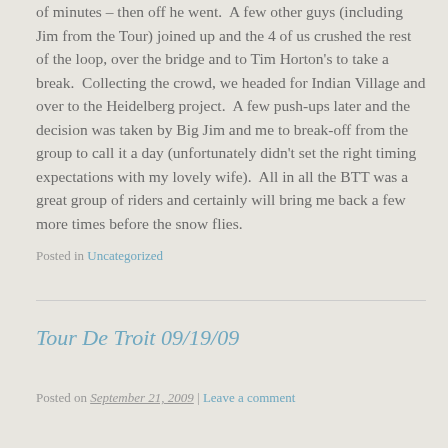of minutes – then off he went.  A few other guys (including Jim from the Tour) joined up and the 4 of us crushed the rest of the loop, over the bridge and to Tim Horton's to take a break.  Collecting the crowd, we headed for Indian Village and over to the Heidelberg project.  A few push-ups later and the decision was taken by Big Jim and me to break-off from the group to call it a day (unfortunately didn't set the right timing expectations with my lovely wife).  All in all the BTT was a great group of riders and certainly will bring me back a few more times before the snow flies.
Posted in Uncategorized
Tour De Troit 09/19/09
Posted on September 21, 2009 | Leave a comment